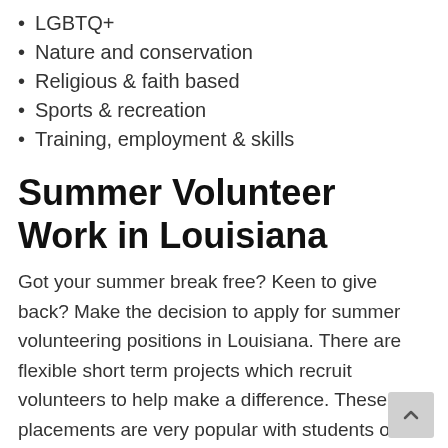LGBTQ+
Nature and conservation
Religious & faith based
Sports & recreation
Training, employment & skills
Summer Volunteer Work in Louisiana
Got your summer break free? Keen to give back? Make the decision to apply for summer volunteering positions in Louisiana. There are flexible short term projects which recruit volunteers to help make a difference. These placements are very popular with students on summer breaks from studying.